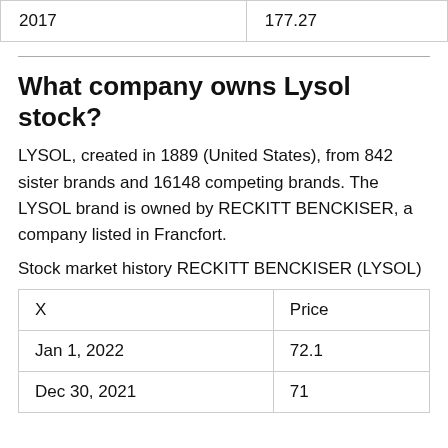|  |  |
| --- | --- |
| 2017 | 177.27 |
What company owns Lysol stock?
LYSOL, created in 1889 (United States), from 842 sister brands and 16148 competing brands. The LYSOL brand is owned by RECKITT BENCKISER, a company listed in Francfort.
Stock market history RECKITT BENCKISER (LYSOL)
| X | Price |
| --- | --- |
| Jan 1, 2022 | 72.1 |
| Dec 30, 2021 | 71 |